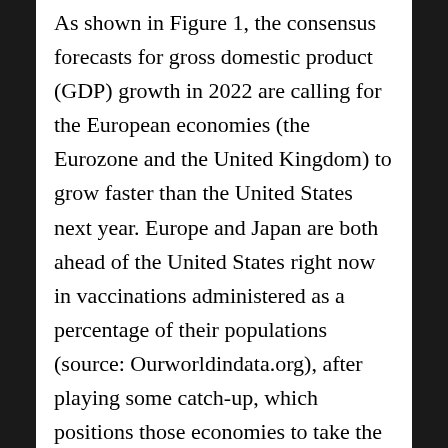As shown in Figure 1, the consensus forecasts for gross domestic product (GDP) growth in 2022 are calling for the European economies (the Eurozone and the United Kingdom) to grow faster than the United States next year. Europe and Japan are both ahead of the United States right now in vaccinations administered as a percentage of their populations (source: Ourworldindata.org), after playing some catch-up, which positions those economies to take the next step forward in their recoveries. Europe and Japan are also earlier in their economic cycles, leaving more